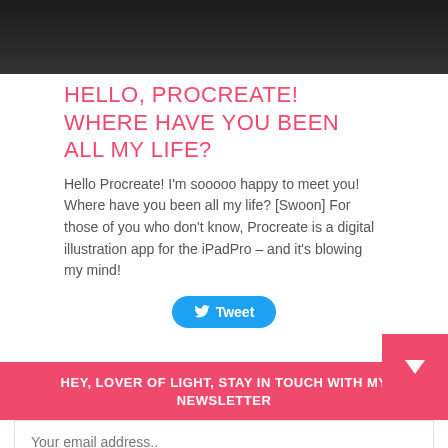[Figure (photo): Dark background image at top of page]
Hello, Procreate! Where have you been all my life?
Hello Procreate! I'm sooooo happy to meet you! Where have you been all my life? [Swoon] For those of you who don't know, Procreate is a digital illustration app for the iPadPro – and it's blowing my mind!
[Figure (other): Tweet button]
HEY, LOVER OF LIGHT, STAY IN TOUCH WITH MY NEWSLETTER
Your email address..
Subscribe